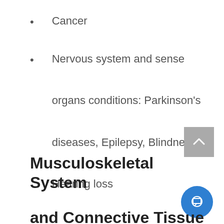Cancer
Nervous system and sense organs conditions: Parkinson's diseases, Epilepsy, Blindness, Hearing loss
Musculoskeletal System and Connective Tissue